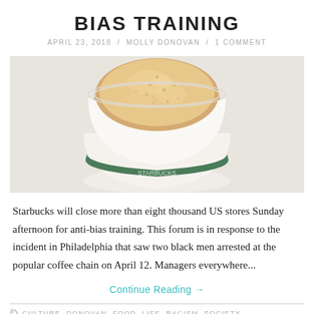BIAS TRAINING
APRIL 23, 2018 / MOLLY DONOVAN / 1 COMMENT
[Figure (photo): Top-down view of a Starbucks coffee cup filled with a latte with frothy foam surface, white background]
Starbucks will close more than eight thousand US stores Sunday afternoon for anti-bias training. This forum is in response to the incident in Philadelphia that saw two black men arrested at the popular coffee chain on April 12. Managers everywhere...
Continue Reading →
CULTURE, DONOVAN, FOOD, LIFE, RACISM, SOCIETY